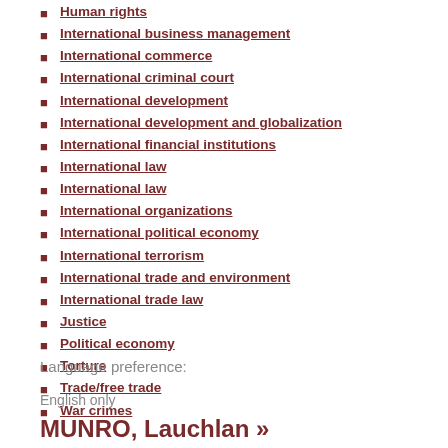Human rights
International business management
International commerce
International criminal court
International development
International development and globalization
International financial institutions
International law
International law
International organizations
International political economy
International terrorism
International trade and environment
International trade law
Justice
Political economy
Torture
Trade/free trade
War crimes
Language preference:
English only
MUNRO, Lauchlan »